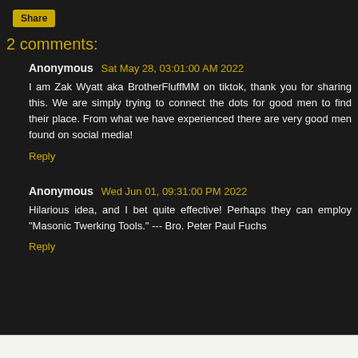Share
2 comments:
Anonymous Sat May 28, 03:01:00 AM 2022
I am Zak Wyatt aka BrotherFluffMM on tiktok, thank you for sharing this. We are simply trying to connect the dots for good men to find their place. From what we have experienced there are very good men found on social media!
Reply
Anonymous Wed Jun 01, 09:31:00 PM 2022
Hilarious idea, and I bet quite effective! Perhaps they can employ "Masonic Twerking Tools." --- Bro. Peter Paul Fuchs
Reply